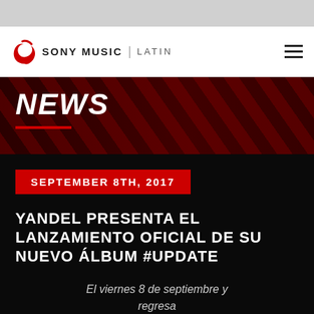[Figure (logo): Sony Music Latin logo with red swirl icon, black bold 'SONY MUSIC' text, vertical divider, and 'LATIN' text]
NEWS
SEPTEMBER 8TH, 2017
YANDEL PRESENTA EL LANZAMIENTO OFICIAL DE SU NUEVO ÁLBUM #UPDATE
El viernes 8 de septiembre y regresa